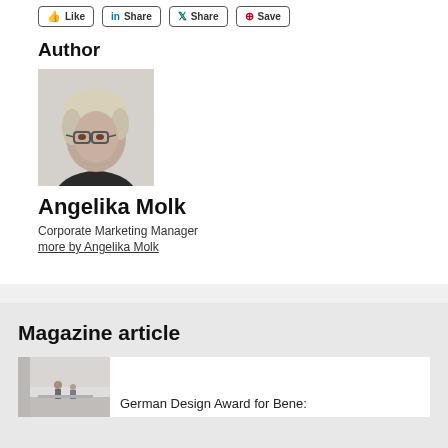[Figure (other): Social sharing buttons: Like, Share (LinkedIn), Share (Xing), Save (Pinterest)]
Author
[Figure (photo): Black and white portrait photo of Angelika Molk, a woman with short blonde hair and glasses, wearing a dark top]
Angelika Molk
Corporate Marketing Manager
more by Angelika Molk
Magazine article
[Figure (photo): Thumbnail photo of an office or design space with people]
German Design Award for Bene: